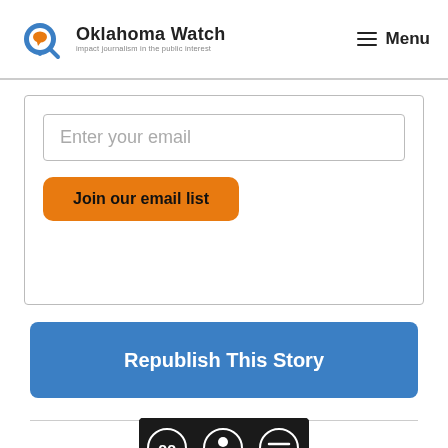Oklahoma Watch — impact journalism in the public interest | Menu
Enter your email
Join our email list
Republish This Story
[Figure (logo): Creative Commons BY-ND license badge]